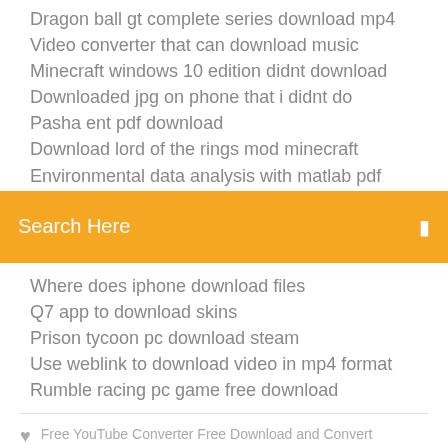Dragon ball gt complete series download mp4
Video converter that can download music
Minecraft windows 10 edition didnt download
Downloaded jpg on phone that i didnt do
Pasha ent pdf download
Download lord of the rings mod minecraft
Environmental data analysis with matlab pdf download
Search Here
Where does iphone download files
Q7 app to download skins
Prison tycoon pc download steam
Use weblink to download video in mp4 format
Rumble racing pc game free download
Free YouTube Converter Free Download and Convert YouTube to Mp4 Online. Download Now. By using our service you are accepting our terms of use. service which allows you to download